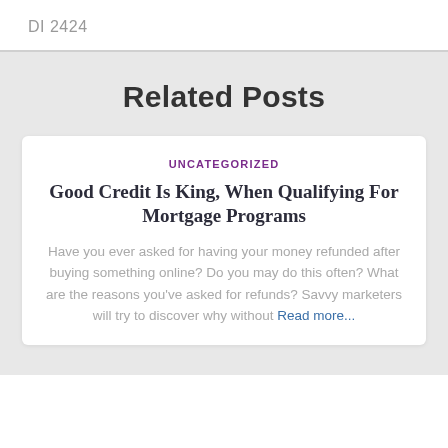DI 2424
Related Posts
UNCATEGORIZED
Good Credit Is King, When Qualifying For Mortgage Programs
Have you ever asked for having your money refunded after buying something online? Do you may do this often? What are the reasons you've asked for refunds? Savvy marketers will try to discover why without Read more...